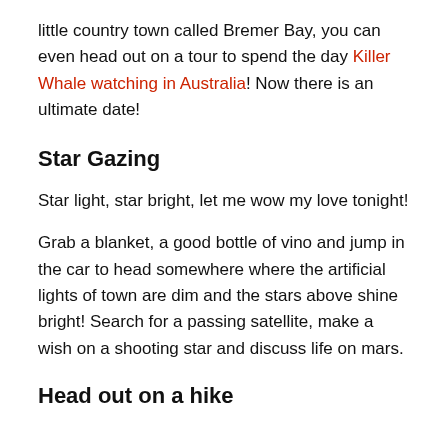little country town called Bremer Bay, you can even head out on a tour to spend the day Killer Whale watching in Australia! Now there is an ultimate date!
Star Gazing
Star light, star bright, let me wow my love tonight!
Grab a blanket, a good bottle of vino and jump in the car to head somewhere where the artificial lights of town are dim and the stars above shine bright! Search for a passing satellite, make a wish on a shooting star and discuss life on mars.
Head out on a hike